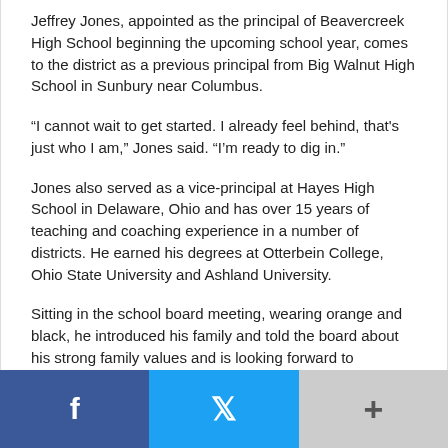Jeffrey Jones, appointed as the principal of Beavercreek High School beginning the upcoming school year, comes to the district as a previous principal from Big Walnut High School in Sunbury near Columbus.
“I cannot wait to get started. I already feel behind, that’s just who I am,” Jones said. “I’m ready to dig in.”
Jones also served as a vice-principal at Hayes High School in Delaware, Ohio and has over 15 years of teaching and coaching experience in a number of districts. He earned his degrees at Otterbein College, Ohio State University and Ashland University.
Sitting in the school board meeting, wearing orange and black, he introduced his family and told the board about his strong family values and is looking forward to integrating his family into the Beavercreek community and schools.